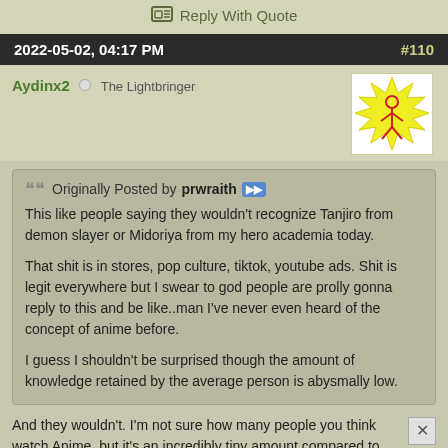Reply With Quote
2022-05-02, 04:17 PM   #110
Aydinx2  The Lightbringer
[Figure (illustration): Avatar image: stick figure drawing with yellow spiky aura on white background]
Originally Posted by prwraith
This like people saying they wouldn't recognize Tanjiro from demon slayer or Midoriya from my hero academia today.

That shit is in stores, pop culture, tiktok, youtube ads. Shit is legit everywhere but I swear to god people are prolly gonna reply to this and be like..man I've never even heard of the concept of anime before.

I guess I shouldn't be surprised though the amount of knowledge retained by the average person is abysmally low.
And they wouldn't. I'm not sure how many people you think watch Anime, but it's an incredibly tiny amount compared to the population. And an even smaller portion of that actually watches the shows you mentioned. I watched the first season of My Hero Academia and nothing else, so no I wouldn't recognize whoever Tanjiro is.